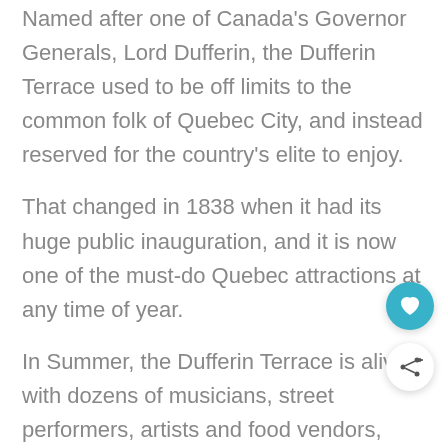Named after one of Canada's Governor Generals, Lord Dufferin, the Dufferin Terrace used to be off limits to the common folk of Quebec City, and instead reserved for the country's elite to enjoy.
That changed in 1838 when it had its huge public inauguration, and it is now one of the must-do Quebec attractions at any time of year.
In Summer, the Dufferin Terrace is alive with dozens of musicians, street performers, artists and food vendors, while in wintertime